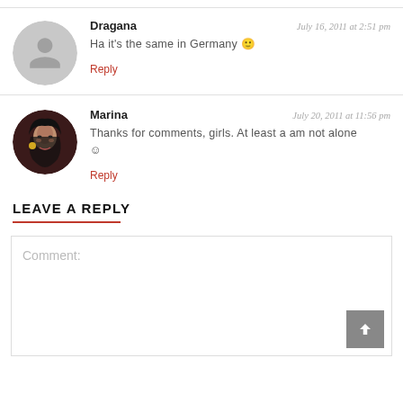Dragana — July 16, 2011 at 2:51 pm
Ha it's the same in Germany 🙂
Reply
Marina — July 20, 2011 at 11:56 pm
Thanks for comments, girls. At least a am not alone 😉
Reply
LEAVE A REPLY
Comment: